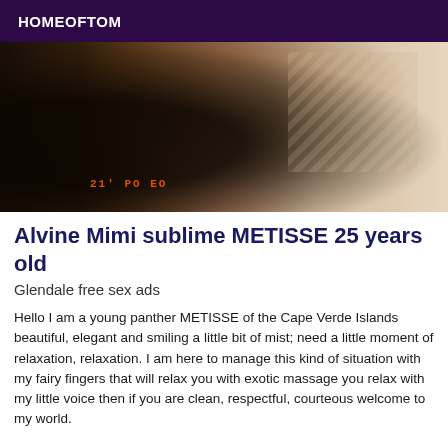HOMEOFTOM
[Figure (photo): A close-up photograph showing a dark-skinned person's body, partially visible, with a light-colored background. A timestamp reading '21' PO EO' appears in orange at the bottom left of the photo. Diagonal stripe pattern visible on the right side.]
Alvine Mimi sublime METISSE 25 years old
Glendale free sex ads
Hello I am a young panther METISSE of the Cape Verde Islands beautiful, elegant and smiling a little bit of mist; need a little moment of relaxation, relaxation. I am here to manage this kind of situation with my fairy fingers that will relax you with exotic massage you relax with my little voice then if you are clean, respectful, courteous welcome to my world.